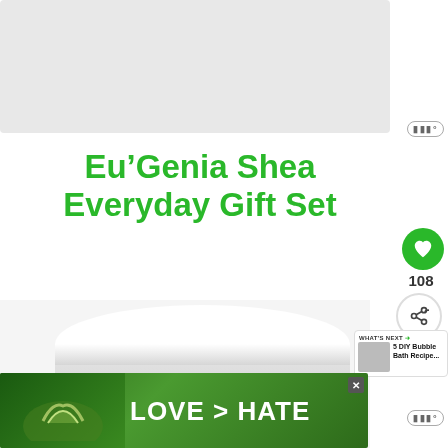[Figure (photo): Gray placeholder image area at top of page]
Eu’Genia Shea Everyday Gift Set
[Figure (photo): White cylindrical product jar with blue mio label reading 'mio fit skin for life']
[Figure (screenshot): WHAT'S NEXT panel showing thumbnail and text '5 DIY Bubble Bath Recipe...']
[Figure (photo): Advertisement banner showing hands forming a heart shape with text 'LOVE > HATE' on green background]